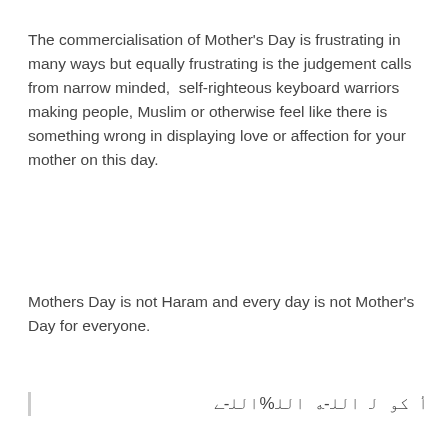The commercialisation of Mother's Day is frustrating in many ways but equally frustrating is the judgement calls from narrow minded,  self-righteous keyboard warriors making people, Muslim or otherwise feel like there is something wrong in displaying love or affection for your mother on this day.
Mothers Day is not Haram and every day is not Mother's Day for everyone.
[Arabic script text]